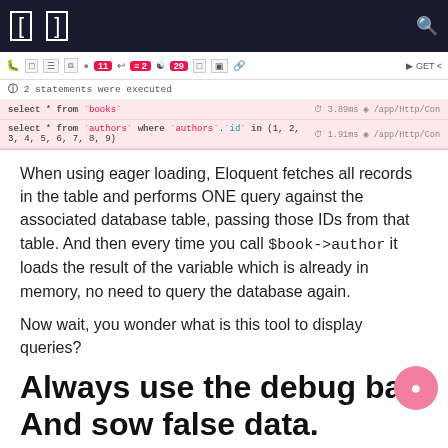[Figure (screenshot): Navigation bar (dark navy) with bracket icons and search icon]
[Figure (screenshot): Laravel Debugbar showing 2 SQL statements: 'select * from books' (3.89ms) and 'select * from authors where authors.id in (1,2,3,4,5,6,7,8,9)' (1.91ms)]
When using eager loading, Eloquent fetches all records in the table and performs ONE query against the associated database table, passing those IDs from that table. And then every time you call $book->author it loads the result of the variable which is already in memory, no need to query the database again.
Now wait, you wonder what is this tool to display queries?
Always use the debug bar. And sow false data.
This bottom bar is a Laravel Debugbar package. To use it